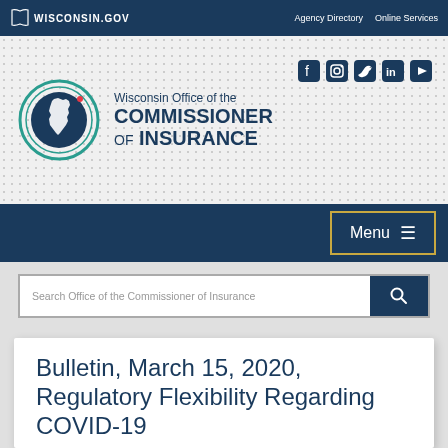Wisconsin.Gov | Agency Directory | Online Services
[Figure (logo): Wisconsin Office of the Commissioner of Insurance logo with Wisconsin state outline in circular badge, plus social media icons (Facebook, Instagram, Twitter, LinkedIn, YouTube)]
Wisconsin Office of the COMMISSIONER OF INSURANCE
Menu
Search Office of the Commissioner of Insurance
Bulletin, March 15, 2020, Regulatory Flexibility Regarding COVID-19